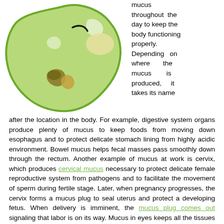[Figure (illustration): Illustration of a blob-shaped mucus cell, light green with darker green outline, containing internal spots including yellow-green and olive/brown patches, and a curved dark line near the top.]
mucus throughout the day to keep the body functioning properly. Depending on where the mucus is produced, it takes its name after the location in the body. For example, digestive system organs produce plenty of mucus to keep foods from moving down esophagus and to protect delicate stomach lining from highly acidic environment. Bowel mucus helps fecal masses pass smoothly down through the rectum. Another example of mucus at work is cervix, which produces cervical mucus necessary to protect delicate female reproductive system from pathogens and to facilitate the movement of sperm during fertile stage. Later, when pregnancy progresses, the cervix forms a mucus plug to seal uterus and protect a developing fetus. When delivery is imminent, the mucus plug comes out signaling that labor is on its way. Mucus in eyes keeps all the tissues from drying out and additionally neutralizes allergens, dust and viruses, which may be introduced into the eyes.